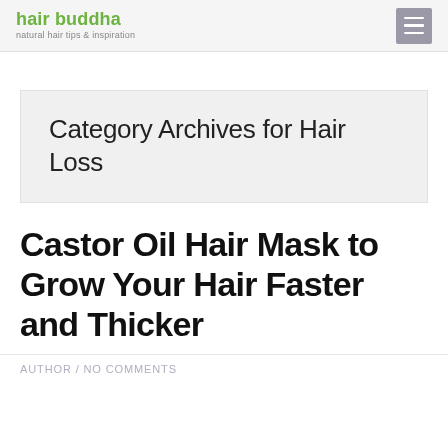hair buddha — natural hair tips & inspiration
Category Archives for Hair Loss
Castor Oil Hair Mask to Grow Your Hair Faster and Thicker
AUTHOR / NO COMMENTS